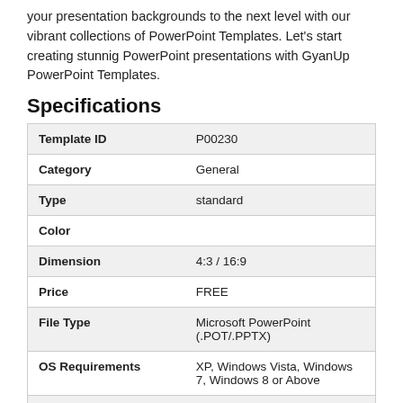your presentation backgrounds to the next level with our vibrant collections of PowerPoint Templates. Let's start creating stunnig PowerPoint presentations with GyanUp PowerPoint Templates.
Specifications
|  |  |
| --- | --- |
| Template ID | P00230 |
| Category | General |
| Type | standard |
| Color |  |
| Dimension | 4:3 / 16:9 |
| Price | FREE |
| File Type | Microsoft PowerPoint (.POT/.PPTX) |
| OS Requirements | XP, Windows Vista, Windows 7, Windows 8 or Above |
| Software Requirements | Microsoft PowerPoint 2003, 2007, 2010, 2013, 2016, 2019 |